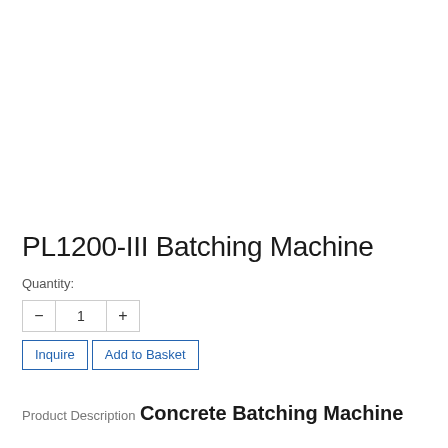PL1200-III Batching Machine
Quantity:
— 1 +
Inquire  Add to Basket
Product Description
Concrete Batching Machine